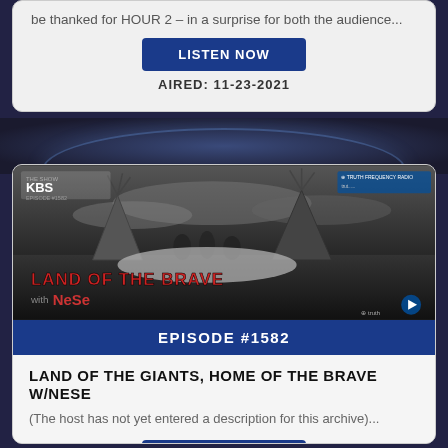be thanked for HOUR 2 – in a surprise for both the audience...
LISTEN NOW
AIRED: 11-23-2021
[Figure (photo): Black and white historical photo of people near teepees with text overlay: LAND OF THE BRAVE with NeSe, KBS logo, Truth Frequency Radio logo]
EPISODE #1582
LAND OF THE GIANTS, HOME OF THE BRAVE W/NESE
(The host has not yet entered a description for this archive)...
LISTEN NOW
AIRED: 11-22-2021